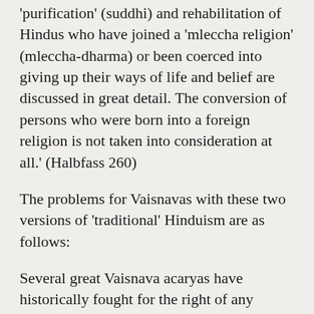'purification' (suddhi) and rehabilitation of Hindus who have joined a 'mleccha religion' (mleccha-dharma) or been coerced into giving up their ways of life and belief are discussed in great detail. The conversion of persons who were born into a foreign religion is not taken into consideration at all.' (Halbfass 260)
The problems for Vaisnavas with these two versions of 'traditional' Hinduism are as follows:
Several great Vaisnava acaryas have historically fought for the right of any person to achieve salvation, and to acquire the status of a spiritual teacher, simply on the basis of bhakti, or devotion to God.(6) Indeed, they have fought precisely against the type of orthodox, smarta, brahmanism exemplified by the work of Vasudeva Sastrin Abhyankara. In his article on the Bhagavata Purana, perhaps the single